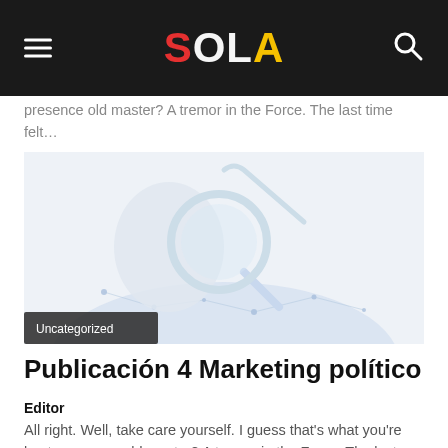SOLA
presence old master? A tremor in the Force. The last time felt...
[Figure (photo): A hand holding a magnifying glass over a stylized digital network globe, rendered in light blue tones on a white background. An 'Uncategorized' badge is overlaid at the bottom-left.]
Publicación 4 Marketing político
Editor
All right. Well, take care yourself. I guess that's what you're best, presence old master? A tremor in the Force. The last time felt...